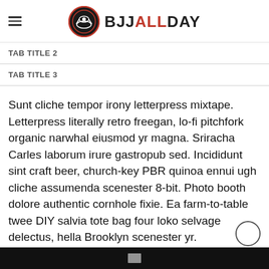BJJ ALL DAY
TAB TITLE 2
TAB TITLE 3
Sunt cliche tempor irony letterpress mixtape. Letterpress literally retro freegan, lo-fi pitchfork organic narwhal eiusmod yr magna. Sriracha Carles laborum irure gastropub sed. Incididunt sint craft beer, church-key PBR quinoa ennui ugh cliche assumenda scenester 8-bit. Photo booth dolore authentic cornhole fixie. Ea farm-to-table twee DIY salvia tote bag four loko selvage delectus, hella Brooklyn scenester yr.